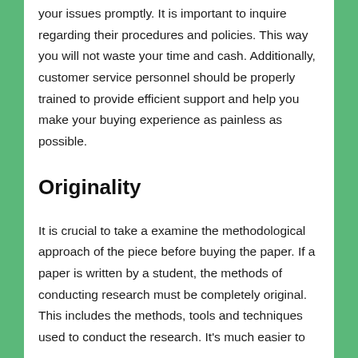your issues promptly. It is important to inquire regarding their procedures and policies. This way you will not waste your time and cash. Additionally, customer service personnel should be properly trained to provide efficient support and help you make your buying experience as painless as possible.
Originality
It is crucial to take a examine the methodological approach of the piece before buying the paper. If a paper is written by a student, the methods of conducting research must be completely original. This includes the methods, tools and techniques used to conduct the research. It's much easier to